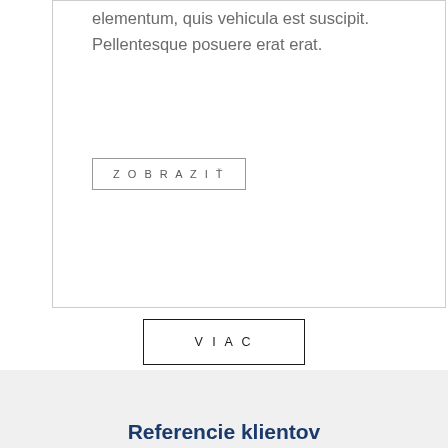elementum, quis vehicula est suscipit. Pellentesque posuere erat erat.
ZOBRAZIŤ
VIAC
2
Referencie klientov